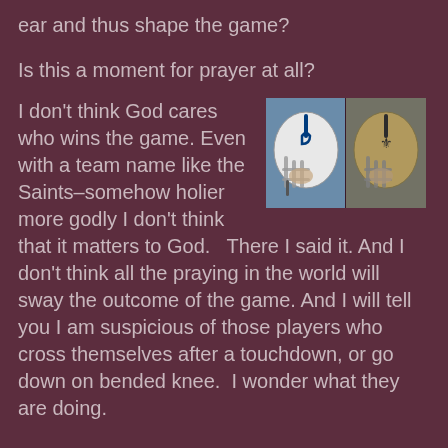ear and thus shape the game?
Is this a moment for prayer at all?
[Figure (photo): Two NFL football players wearing helmets side by side — left player in white Indianapolis Colts helmet, right player in gold New Orleans Saints helmet]
I don’t think God cares who wins the game. Even with a team name like the Saints–somehow holier more godly I don’t think that it matters to God.   There I said it. And I don’t think all the praying in the world will sway the outcome of the game. And I will tell you I am suspicious of those players who cross themselves after a touchdown, or go down on bended knee.  I wonder what they are doing.